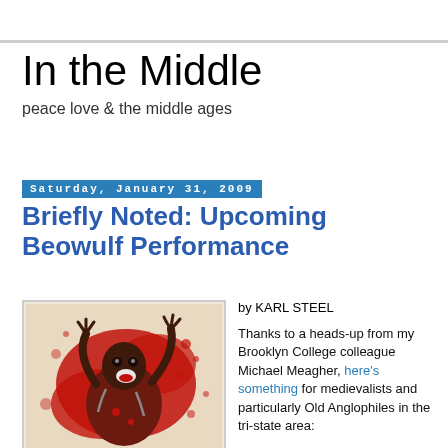In the Middle
peace love & the middle ages
Saturday, January 31, 2009
Briefly Noted: Upcoming Beowulf Performance
[Figure (illustration): Red and white illustrated artwork of a roaring figure (Beowulf/monster) with dramatic splatter style]
by KARL STEEL
Thanks to a heads-up from my Brooklyn College colleague Michael Meagher, here's something for medievalists and particularly Old Anglophiles in the tri-state area:
Beowulf: A Thousand Years of Baggage